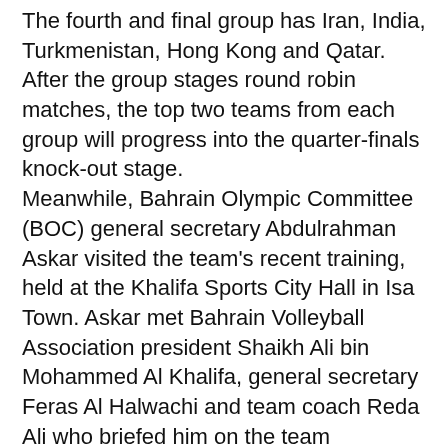The fourth and final group has Iran, India, Turkmenistan, Hong Kong and Qatar. After the group stages round robin matches, the top two teams from each group will progress into the quarter-finals knock-out stage. Meanwhile, Bahrain Olympic Committee (BOC) general secretary Abdulrahman Askar visited the team's recent training, held at the Khalifa Sports City Hall in Isa Town. Askar met Bahrain Volleyball Association president Shaikh Ali bin Mohammed Al Khalifa, general secretary Feras Al Halwachi and team coach Reda Ali who briefed him on the team progress, in the presence of assistant coach Fuad Abdulwahed, team manager Abdulla Al Mahroos and physiotherapist Maamon Al Khateeb. Askar said he was pleased with the overall progress made by the team ahead of this crucial international challenge. He urged the team to offer their best performance in the championship, and wished them success. On his part, Al Halwachi commended the support given by the committee to the association, and stressed the